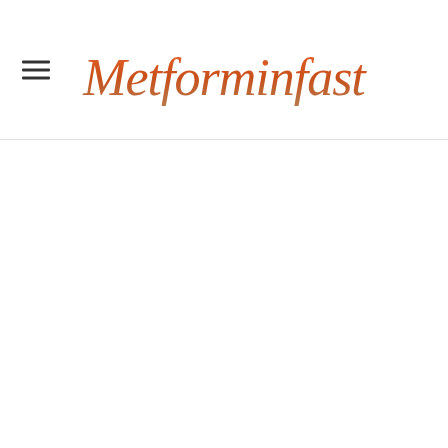Metforminfast
[Figure (logo): Metforminfast website logo with hamburger menu icon on the left and the brand name 'Metforminfast' in an italic script font with an orange-to-copper gradient color scheme.]